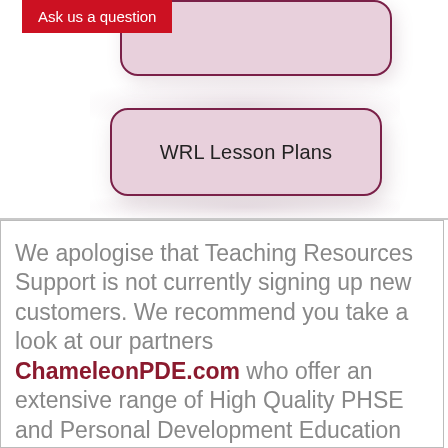[Figure (infographic): UI screenshot showing a red 'Ask us a question' button overlapping a pink rounded rectangle card at top, and below it a pink rounded rectangle card labeled 'WRL Lesson Plans' with drop shadow, on a white background.]
We apologise that Teaching Resources Support is not currently signing up new customers. We recommend you take a look at our partners ChameleonPDE.com who offer an extensive range of High Quality PHSE and Personal Development Education teaching resources for schools.